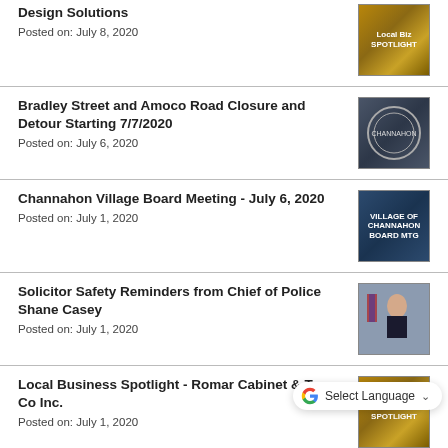Design Solutions
Posted on: July 8, 2020
Bradley Street and Amoco Road Closure and Detour Starting 7/7/2020
Posted on: July 6, 2020
Channahon Village Board Meeting - July 6, 2020
Posted on: July 1, 2020
Solicitor Safety Reminders from Chief of Police Shane Casey
Posted on: July 1, 2020
Local Business Spotlight - Romar Cabinet & Top Co Inc.
Posted on: July 1, 2020
Special Channahon Village Board Meeting